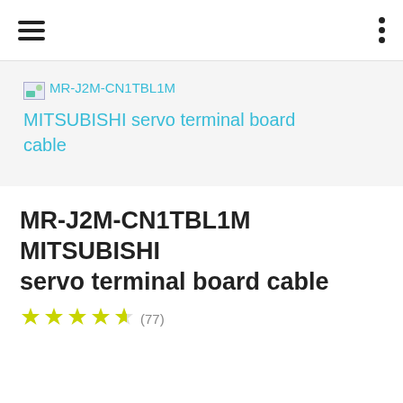[Figure (screenshot): Product listing screenshot showing MR-J2M-CN1TBL1M image placeholder and teal hyperlink text reading 'MR-J2M-CN1TBL1M MITSUBISHI servo terminal board cable']
MR-J2M-CN1TBL1M MITSUBISHI servo terminal board cable
[Figure (other): Star rating row showing approximately 4.5 stars in yellow-green color and a review count in parentheses (77)]